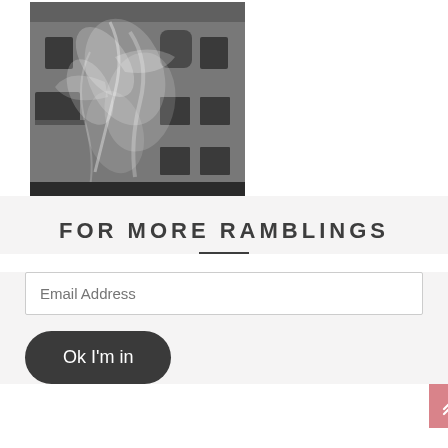[Figure (photo): Black and white photograph of a building facade with artistic mural or projection of birds/figures on it. Urban building with windows and a balcony visible.]
FOR MORE RAMBLINGS
Email Address
Ok I'm in